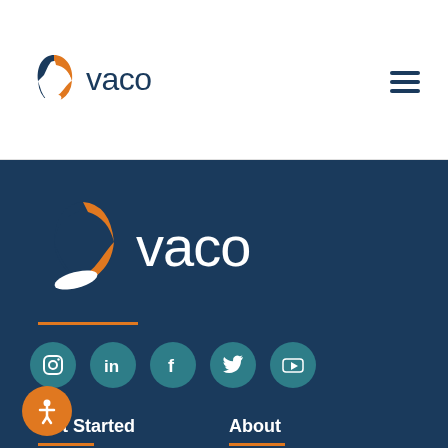vaco
[Figure (logo): Vaco company logo with orange and navy leaf/sail icon and 'vaco' text in navy, shown in the header navigation bar with hamburger menu icon on the right]
[Figure (logo): Large Vaco logo in footer: orange and navy leaf/sail icon with large white 'vaco' text on dark navy background, with orange horizontal divider line below]
[Figure (infographic): Row of 5 teal circular social media icon buttons: Instagram, LinkedIn, Facebook, Twitter/X, YouTube]
Get Started
About
For Businesses
About Vaco